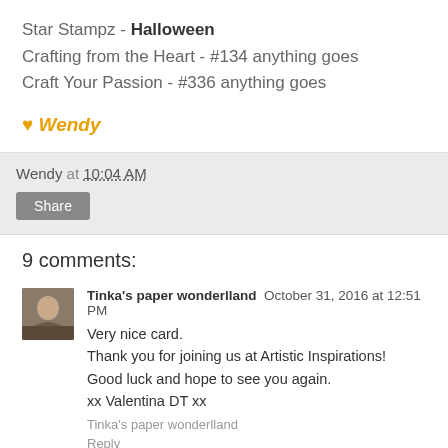Star Stampz - Halloween
Crafting from the Heart - #134 anything goes
Craft Your Passion - #336 anything goes
♥ Wendy
Wendy at 10:04 AM
Share
9 comments:
Tinka's paper wonderlland  October 31, 2016 at 12:51 PM
Very nice card.
Thank you for joining us at Artistic Inspirations!
Good luck and hope to see you again.
xx Valentina DT xx
Tinka's paper wonderlland
Reply